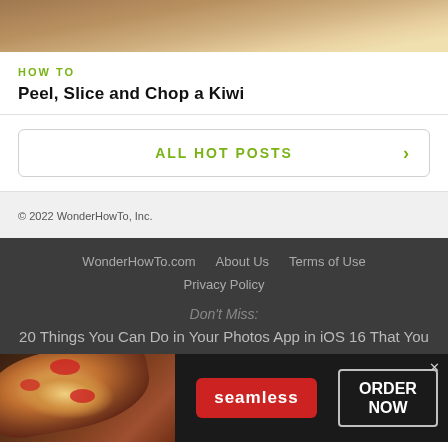[Figure (photo): Partial top image of hands peeling or slicing a kiwi fruit]
HOW TO
Peel, Slice and Chop a Kiwi
ALL HOT POSTS →
© 2022 WonderHowTo, Inc.
WonderHowTo.com   About Us   Terms of Use   Privacy Policy
Don't Miss:
20 Things You Can Do in Your Photos App in iOS 16 That You
[Figure (photo): Seamless food delivery advertisement banner with pizza image, Seamless logo and ORDER NOW button]